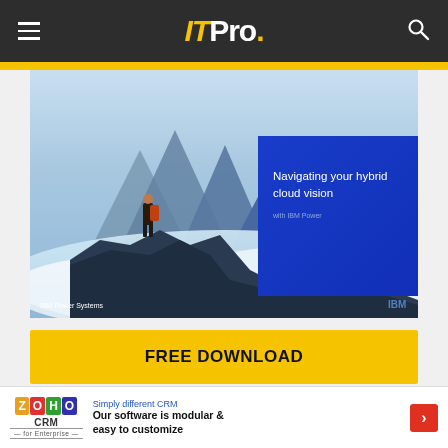ITPro.
[Figure (illustration): IBM Power Systems promotional image showing a person with a backpack standing on rocky cliffs above clouds with mountains, and a blue overlay box reading 'Navigating your hybrid cloud vision with IBM Power']
FREE DOWNLOAD
Successful enterprise application modernisation requires hybrid cloud infrastructure
[Figure (infographic): Zoho CRM advertisement banner with text 'Simply different CRM', 'Our software is modular & easy to customize']